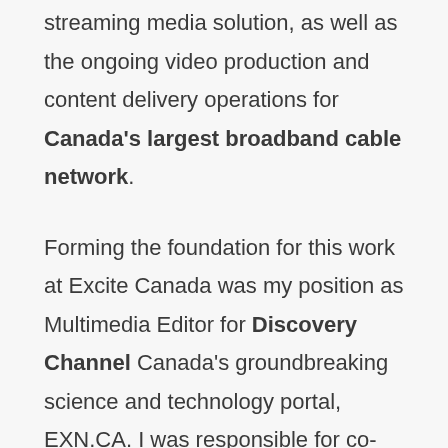streaming media solution, as well as the ongoing video production and content delivery operations for Canada's largest broadband cable network.
Forming the foundation for this work at Excite Canada was my position as Multimedia Editor for Discovery Channel Canada's groundbreaking science and technology portal, EXN.CA. I was responsible for co-ordinating content and features from the television network, and adapting